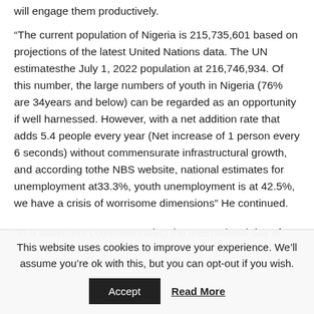will engage them productively.
“The current population of Nigeria is 215,735,601 based on projections of the latest United Nations data. The UN estimatesthe July 1, 2022 population at 216,746,934. Of this number, the large numbers of youth in Nigeria (76% are 34years and below) can be regarded as an opportunity if well harnessed. However, with a net addition rate that adds 5.4 people every year (Net increase of 1 person every 6 seconds) without commensurate infrastructural growth, and according tothe NBS website, national estimates for unemployment at33.3%, youth unemployment is at 42.5%, we have a crisis of worrisome dimensions” He continued.
“In a statement commemorating the International day of
This website uses cookies to improve your experience. We’ll assume you’re ok with this, but you can opt-out if you wish.